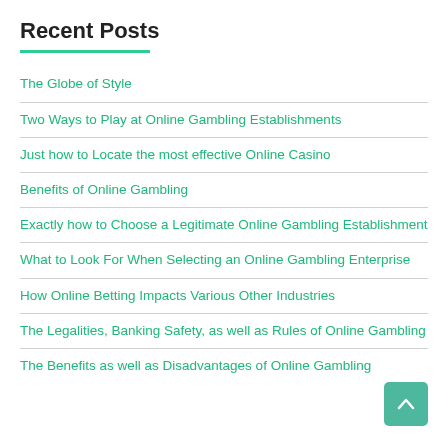Recent Posts
The Globe of Style
Two Ways to Play at Online Gambling Establishments
Just how to Locate the most effective Online Casino
Benefits of Online Gambling
Exactly how to Choose a Legitimate Online Gambling Establishment
What to Look For When Selecting an Online Gambling Enterprise
How Online Betting Impacts Various Other Industries
The Legalities, Banking Safety, as well as Rules of Online Gambling
The Benefits as well as Disadvantages of Online Gambling